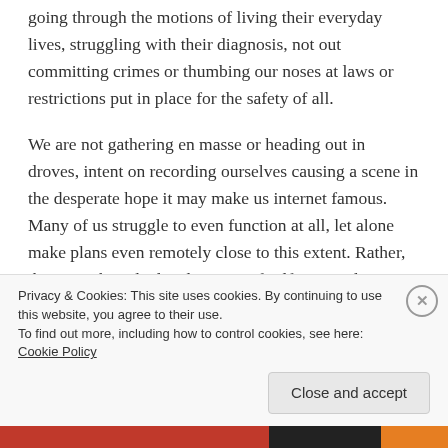going through the motions of living their everyday lives, struggling with their diagnosis, not out committing crimes or thumbing our noses at laws or restrictions put in place for the safety of all.
We are not gathering en masse or heading out in droves, intent on recording ourselves causing a scene in the desperate hope it may make us internet famous. Many of us struggle to even function at all, let alone make plans even remotely close to this extent. Rather, these are the calculated actions of self-centered, egotistical
Privacy & Cookies: This site uses cookies. By continuing to use this website, you agree to their use.
To find out more, including how to control cookies, see here: Cookie Policy
Close and accept